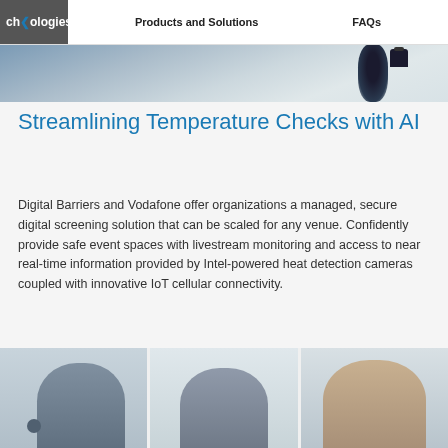Technologies  Products and Solutions  FAQs
[Figure (photo): Top banner showing a thermal/surveillance camera against a blurred background]
Streamlining Temperature Checks with AI
Digital Barriers and Vodafone offer organizations a managed, secure digital screening solution that can be scaled for any venue. Confidently provide safe event spaces with livestream monitoring and access to near real-time information provided by Intel-powered heat detection cameras coupled with innovative IoT cellular connectivity.
Explore the solution
[Figure (photo): Three people wearing face masks in an office or public space setting]